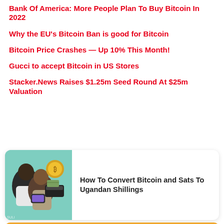Bank Of America: More People Plan To Buy Bitcoin In 2022
Why the EU’s Bitcoin Ban is good for Bitcoin
Bitcoin Price Crashes — Up 10% This Month!
Gucci to accept Bitcoin in US Stores
Stacker.News Raises $1.25m Seed Round At $25m Valuation
[Figure (photo): Two people looking at a phone together, with a gold coin and wallet visible, teal background]
How To Convert Bitcoin and Sats To Ugandan Shillings